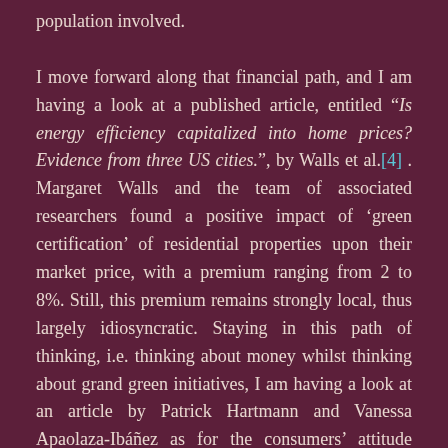population involved.

I move forward along that financial path, and I am having a look at a published article, entitled "Is energy efficiency capitalized into home prices? Evidence from three US cities.", by Walls et al.[4] . Margaret Walls and the team of associated researchers found a positive impact of 'green certification' of residential properties upon their market price, with a premium ranging from 2 to 8%. Still, this premium remains strongly local, thus largely idiosyncratic. Staying in this path of thinking, i.e. thinking about money whilst thinking about grand green initiatives, I am having a look at an article by Patrick Hartmann and Vanessa Apaolaza-Ibáñez as for the consumers' attitude towards the so-called 'green energy brands'[5]. In this case, the most interesting